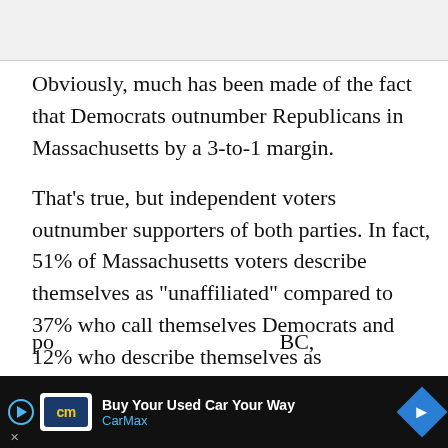[Figure (other): Gray header image area at top of page]
Obviously, much has been made of the fact that Democrats outnumber Republicans in Massachusetts by a 3-to-1 margin.
That’s true, but independent voters outnumber supporters of both parties. In fact, 51% of Massachusetts voters describe themselves as “unaffiliated” compared to 37% who call themselves Democrats and 12% who describe themselves as Republicans.
According to the results of a new nationwide
po                                                  BC,
[Figure (other): CarMax advertisement banner: Buy Your Used Car Your Way, CarMax logo with blue diamond arrow icon]